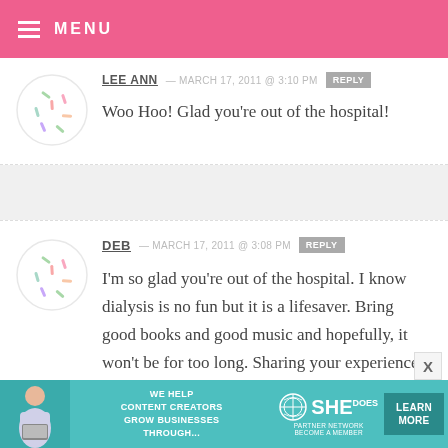MENU
LEE ANN — MARCH 17, 2011 @ 3:10 PM  REPLY
Woo Hoo! Glad you're out of the hospital!
DEB — MARCH 17, 2011 @ 3:08 PM  REPLY
I'm so glad you're out of the hospital. I know dialysis is no fun but it is a lifesaver. Bring good books and good music and hopefully, it won't be for too long. Sharing your experience will no
[Figure (infographic): SHE Partner Network advertisement banner: WE HELP CONTENT CREATORS GROW BUSINESSES THROUGH... LEARN MORE BECOME A MEMBER]